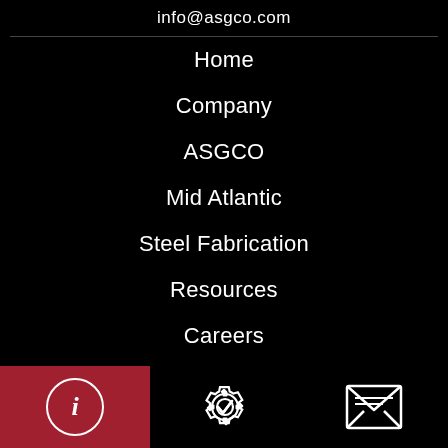info@asgco.com
Home
Company
ASGCO
Mid Atlantic
Steel Fabrication
Resources
Careers
Contact Us
[Figure (screenshot): Bottom navigation bar with three icons: info (i) on red background, gear/settings with checkmark, and envelope/mail icon]